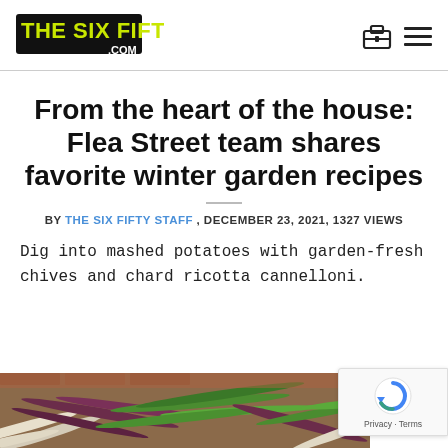THE SIX FIFTY .COM
From the heart of the house: Flea Street team shares favorite winter garden recipes
BY THE SIX FIFTY STAFF , DECEMBER 23, 2021, 1327 VIEWS
Dig into mashed potatoes with garden-fresh chives and chard ricotta cannelloni.
[Figure (photo): Close-up photo of colorful garden vegetables including green, purple, and white beans or similar produce on a brick surface]